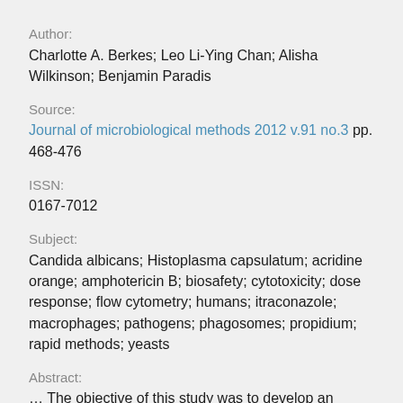Author:
Charlotte A. Berkes; Leo Li-Ying Chan; Alisha Wilkinson; Benjamin Paradis
Source:
Journal of microbiological methods 2012 v.91 no.3 pp. 468-476
ISSN:
0167-7012
Subject:
Candida albicans; Histoplasma capsulatum; acridine orange; amphotericin B; biosafety; cytotoxicity; dose response; flow cytometry; humans; itraconazole; macrophages; pathogens; phagosomes; propidium; rapid methods; yeasts
Abstract:
... The objective of this study was to develop an image-based cytometric methodology for the quantification of viable pathogenic yeasts, which can offer increased sensitivity and efficiency when compared to the traditional colony forming